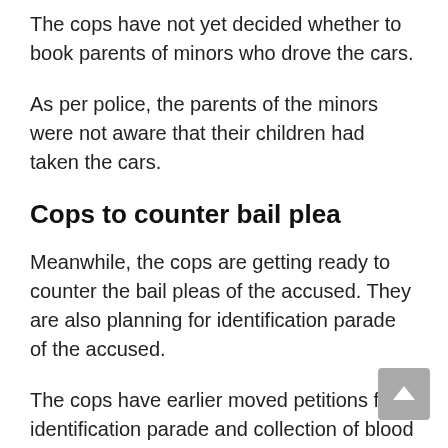The cops have not yet decided whether to book parents of minors who drove the cars.
As per police, the parents of the minors were not aware that their children had taken the cars.
Cops to counter bail plea
Meanwhile, the cops are getting ready to counter the bail pleas of the accused. They are also planning for identification parade of the accused.
The cops have earlier moved petitions for identification parade and collection of blood